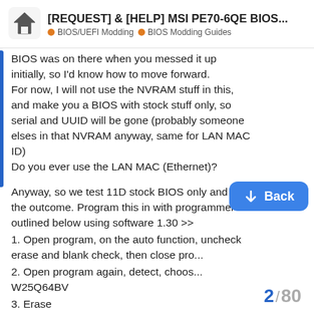[REQUEST] & [HELP] MSI PE70-6QE BIOS... | BIOS/UEFI Modding | BIOS Modding Guides
BIOS was on there when you messed it up initially, so I'd know how to move forward. For now, I will not use the NVRAM stuff in this, and make you a BIOS with stock stuff only, so serial and UUID will be gone (probably someone elses in that NVRAM anyway, same for LAN MAC ID)
Do you ever use the LAN MAC (Ethernet)?
Anyway, so we test 11D stock BIOS only and see the outcome. Program this in with programmer as outlined below using software 1.30 >>
1. Open program, on the auto function, uncheck erase and blank check, then close pro...
2. Open program again, detect, choose W25Q64BV
3. Erase